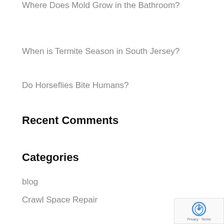Where Does Mold Grow in the Bathroom?
When is Termite Season in South Jersey?
Do Horseflies Bite Humans?
Recent Comments
Categories
blog
Crawl Space Repair
Foundation Repair
Ground Mole Control
Ground Mole Removal Tips